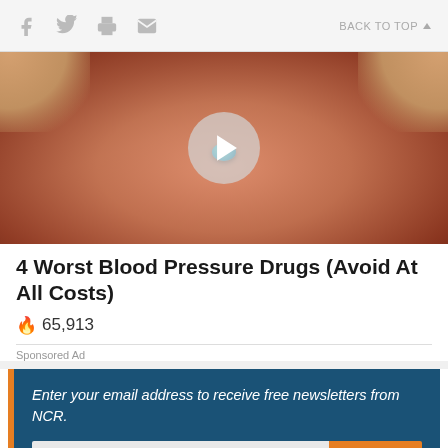f  [twitter] [print] [email]  BACK TO TOP ▲
[Figure (photo): Close-up photo of a tongue holding a small blue/teal pill, with a circular play button overlay in the center.]
4 Worst Blood Pressure Drugs (Avoid At All Costs)
🔥 65,913
Sponsored Ad
Enter your email address to receive free newsletters from NCR.